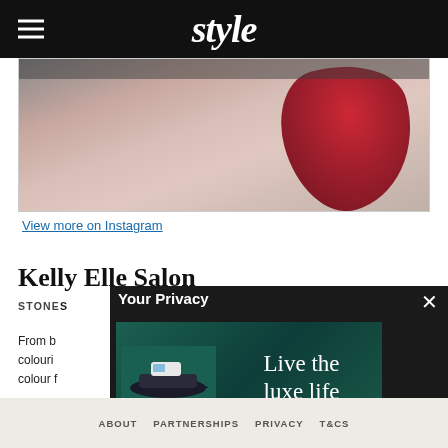style
[Figure (photo): Close-up photo of a person with red/crimson hair, wearing a light pink top, partially cropped]
View more on Instagram
Kelly Elle Salon
STONES...
From b... and colouri... bsite colour f... with
[Figure (advertisement): Live the luxe life advertisement showing aerial view of a luxury yacht on teal water]
Your Privacy
ABOUT   PARTNERSHIPS   PRIVACY   T&CS